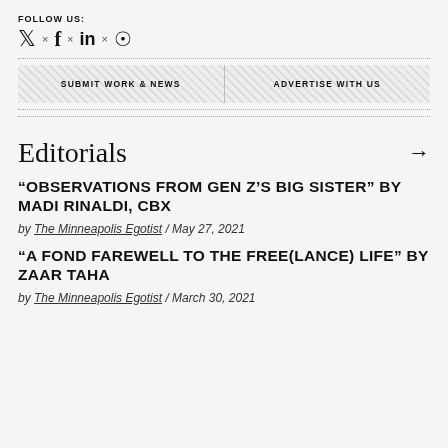FOLLOW US:
Social media icons: Twitter × Facebook × LinkedIn × RSS
SUBMIT WORK & NEWS
ADVERTISE WITH US
Editorials →
“OBSERVATIONS FROM GEN Z’S BIG SISTER” BY MADI RINALDI, CBX
by The Minneapolis Egotist / May 27, 2021
“A FOND FAREWELL TO THE FREE(LANCE) LIFE” BY ZAAR TAHA
by The Minneapolis Egotist / March 30, 2021